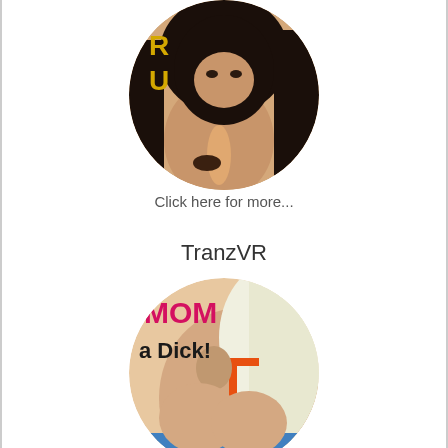[Figure (photo): Circular cropped photo at top of page showing a dark-haired woman with text 'RU' visible in yellow in background]
Click here for more...
TranzVR
[Figure (photo): Circular cropped photo at bottom showing a blonde woman with text 'MOM' in pink and 'a Dick!' visible on clothing/background, wearing orange bikini]